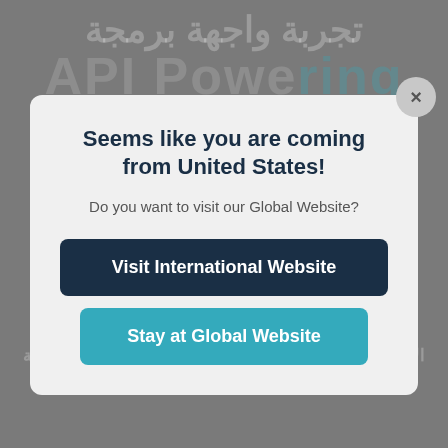[Figure (screenshot): Website background showing Arabic text and API branding in muted grey tones]
Seems like you are coming from United States!
Do you want to visit our Global Website?
Visit International Website
Stay at Global Website
مع حلول rAPI لمكالمات الصوت والفيديو API و SDK ادمج الأعمال الخاصة بك لتخصيص واجهة المستخدم والاستضافة والوظائف الأساسية.